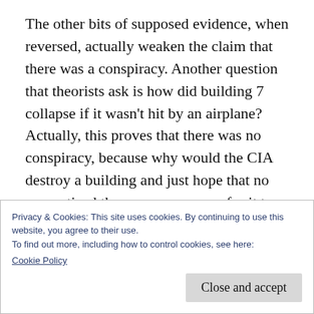The other bits of supposed evidence, when reversed, actually weaken the claim that there was a conspiracy. Another question that theorists ask is how did building 7 collapse if it wasn't hit by an airplane? Actually, this proves that there was no conspiracy, because why would the CIA destroy a building and just hope that no one noticed there was no reason for it to collapse? Surely if they are going to fake an attack, they'll fake an explanation too? Conspiracy theorists seem to view the CIA as
Privacy & Cookies: This site uses cookies. By continuing to use this website, you agree to their use.
To find out more, including how to control cookies, see here:
Cookie Policy
Close and accept